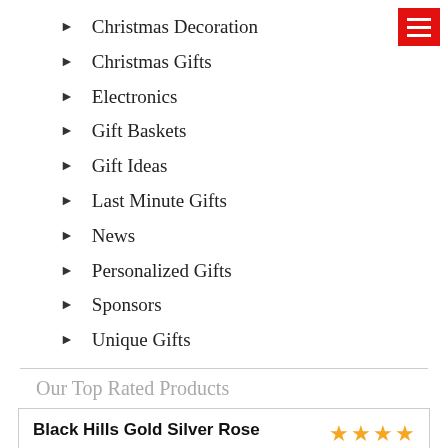[Figure (other): Red hamburger menu button in top right corner]
Christmas Decoration
Christmas Gifts
Electronics
Gift Baskets
Gift Ideas
Last Minute Gifts
News
Personalized Gifts
Sponsors
Unique Gifts
Our Top Rated Products
Black Hills Gold Silver Rose